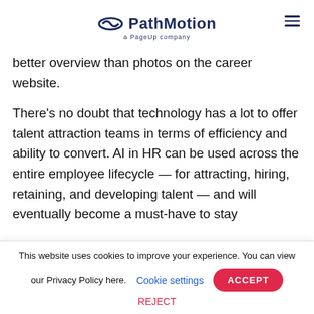PathMotion — a PageUp company
better overview than photos on the career website.
There's no doubt that technology has a lot to offer talent attraction teams in terms of efficiency and ability to convert. AI in HR can be used across the entire employee lifecycle — for attracting, hiring, retaining, and developing talent — and will eventually become a must-have to stay
This website uses cookies to improve your experience. You can view our Privacy Policy here. Cookie settings ACCEPT REJECT